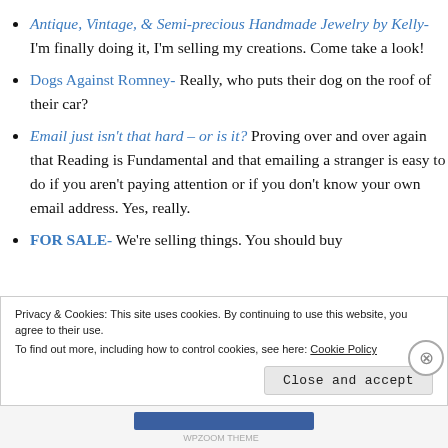Antique, Vintage, & Semi-precious Handmade Jewelry by Kelly- I'm finally doing it, I'm selling my creations. Come take a look!
Dogs Against Romney- Really, who puts their dog on the roof of their car?
Email just isn't that hard – or is it? Proving over and over again that Reading is Fundamental and that emailing a stranger is easy to do if you aren't paying attention or if you don't know your own email address. Yes, really.
FOR SALE- We're selling things. You should buy
Privacy & Cookies: This site uses cookies. By continuing to use this website, you agree to their use. To find out more, including how to control cookies, see here: Cookie Policy
Close and accept